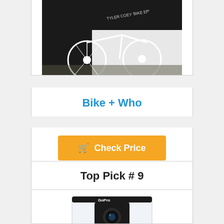[Figure (photo): Partial image of a black and white BMX bike illustration/photo with text 'Tyler Coey Bike ...' visible]
Bike + Who
Check Price
Top Pick # 9
[Figure (photo): GoPro HERO Session camera in retail packaging box]